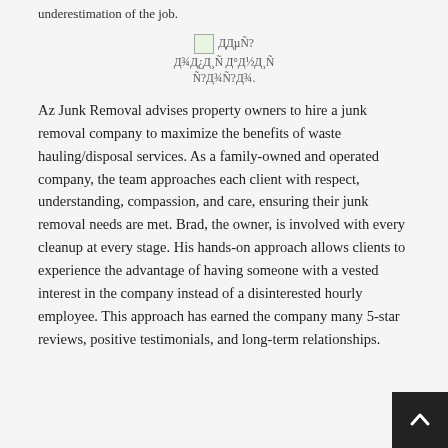underestimation of the job.
[Figure (other): Small broken image icon followed by Cyrillic/garbled text: ДДµÑ? Д¾Д¿Д¸Ñ Д°Д½Д¸Ñ Ñ?Д¾Ñ?Д¾.]
Az Junk Removal advises property owners to hire a junk removal company to maximize the benefits of waste hauling/disposal services. As a family-owned and operated company, the team approaches each client with respect, understanding, compassion, and care, ensuring their junk removal needs are met. Brad, the owner, is involved with every cleanup at every stage. His hands-on approach allows clients to experience the advantage of having someone with a vested interest in the company instead of a disinterested hourly employee. This approach has earned the company many 5-star reviews, positive testimonials, and long-term relationships.